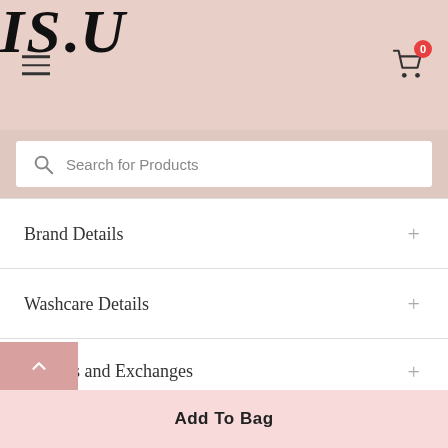[Figure (logo): IS.U brand logo in italic serif font on pink/beige header background, with hamburger menu icon on left and shopping cart icon with badge '0' on right]
Search for Products
Brand Details
Washcare Details
Returns and Exchanges
Share with a friend
Add To Bag